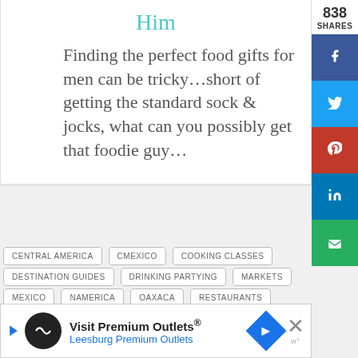Him
Finding the perfect food gifts for men can be tricky…short of getting the standard sock & jocks, what can you possibly get that foodie guy…
CENTRAL AMERICA
CMEXICO
COOKING CLASSES
DESTINATION GUIDES
DRINKING PARTYING
MARKETS
MEXICO
NAMERICA
OAXACA
RESTAURANTS
838 SHARES
Visit Premium Outlets® Leesburg Premium Outlets